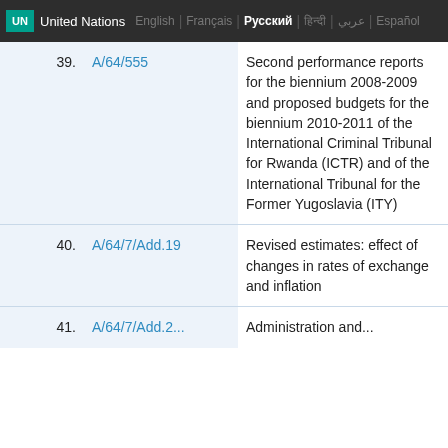UN United Nations | English | Français | Русский | हिन्दी | عربي | Español
| No. | Document | Description |
| --- | --- | --- |
| 39. | A/64/555 | Second performance reports for the biennium 2008-2009 and proposed budgets for the biennium 2010-2011 of the International Criminal Tribunal for Rwanda (ICTR) and of the International Tribunal for the Former Yugoslavia (ITY) |
| 40. | A/64/7/Add.19 | Revised estimates: effect of changes in rates of exchange and inflation |
| 41. | A/64/7/Add.2... | Administration and... |